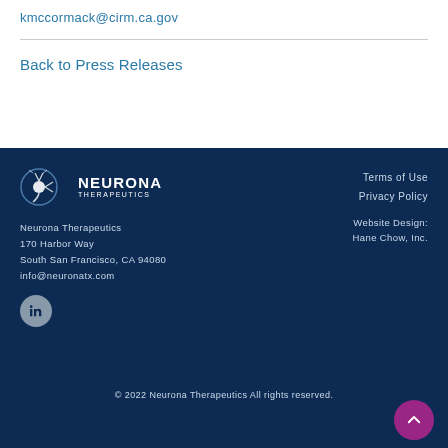kmccormack@cirm.ca.gov
Back to Press Releases
[Figure (logo): Neurona Therapeutics logo — circular emblem with neuron graphic and company name]
Neurona Therapeutics
170 Harbor Way
South San Francisco, CA 94080
info@neuronatx.com
Terms of Use
Privacy Policy
Website Design:
Hane Chow, Inc.
© 2022 Neurona Therapeutics All rights reserved.